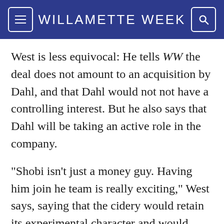WILLAMETTE WEEK
West is less equivocal: He tells WW the deal does not amount to an acquisition by Dahl, and that Dahl would not not have a controlling interest. But he also says that Dahl will be taking an active role in the company.
"Shobi isn't just a money guy. Having him join he team is really exciting," West says, saying that the cidery would retain its experimental character and would continue to put out limited-edition batches like the first-of-its-kind Sidra Bravo, which WW named one of our favorite ciders made this year in Oregon. "Shobi is really excited about